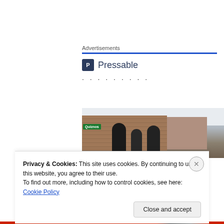Advertisements
[Figure (logo): Pressable logo with blue icon and brand name, followed by dot separator row]
[Figure (photo): Outdoor photo showing people standing in front of a Quiznos restaurant storefront]
Privacy & Cookies: This site uses cookies. By continuing to use this website, you agree to their use.
To find out more, including how to control cookies, see here: Cookie Policy